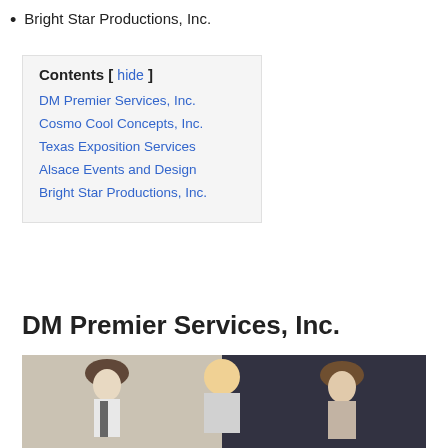Bright Star Productions, Inc.
| Contents [ hide ] |
| DM Premier Services, Inc. |
| Cosmo Cool Concepts, Inc. |
| Texas Exposition Services |
| Alsace Events and Design |
| Bright Star Productions, Inc. |
DM Premier Services, Inc.
[Figure (photo): Three people in costume/theatrical attire: a man in a brown hat on the left, a blonde woman in the center smiling, and a man with a mustache in a brown hat on the right.]